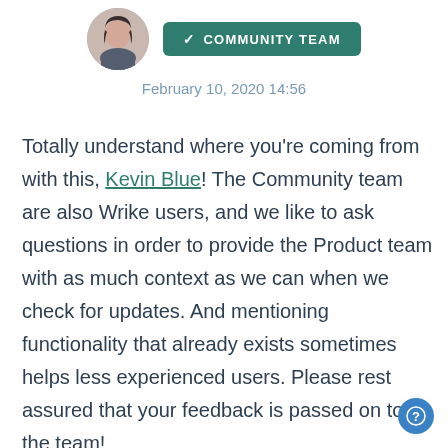[Figure (photo): Circular avatar photo of a person wearing a striped top, with shoulder-length dark hair]
✓ COMMUNITY TEAM
February 10, 2020 14:56
Totally understand where you're coming from with this, Kevin Blue! The Community team are also Wrike users, and we like to ask questions in order to provide the Product team with as much context as we can when we check for updates. And mentioning functionality that already exists sometimes helps less experienced users. Please rest assured that your feedback is passed on to the team!